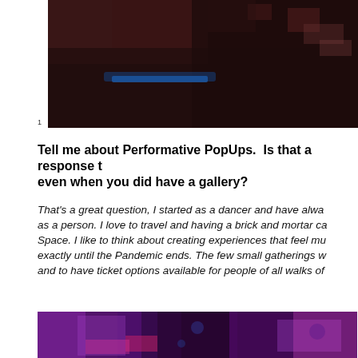[Figure (photo): Dark blurry photo of what appears to be a performance or club venue with dark red/blue tones and some text or signage visible in the background.]
1
Tell me about Performative PopUps.  Is that a response t even when you did have a gallery?
That's a great question, I started as a dancer and have alwa as a person. I love to travel and having a brick and mortar ca Space. I like to think about creating experiences that feel mu exactly until the Pandemic ends. The few small gatherings w and to have ticket options available for people of all walks of
[Figure (photo): Blurry pink/purple/magenta toned photo of what appears to be a performance or art event space with bokeh lighting effects.]